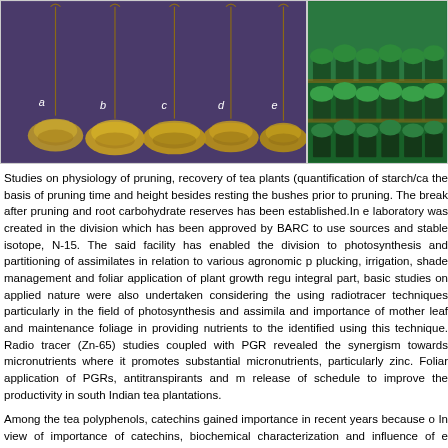[Figure (photo): Left photo showing tea plant root specimens labeled a, b, c, d, e on a purple/dark background. Right photo showing rows of potted tea plants in a green greenhouse setting.]
Studies on physiology of pruning, recovery of tea plants (quantification of starch/ca the basis of pruning time and height besides resting the bushes prior to pruning. The break after pruning and root carbohydrate reserves has been established.In e laboratory was created in the division which has been approved by BARC to use sources and stable isotope, N-15. The said facility has enabled the division to photosynthesis and partitioning of assimilates in relation to various agronomic p plucking, irrigation, shade management and foliar application of plant growth regu integral part, basic studies on applied nature were also undertaken considering the using radiotracer techniques particularly in the field of photosynthesis and assimila and importance of mother leaf and maintenance foliage in providing nutrients to the identified using this technique. Radio tracer (Zn-65) studies coupled with PGR revealed the synergism towards micronutrients where it promotes substantial micronutrients, particularly zinc. Foliar application of PGRs, antitranspirants and m release of schedule to improve the productivity in south Indian tea plantations.
Among the tea polyphenols, catechins gained importance in recent years because o In view of importance of catechins, biochemical characterization and influence of e agronomic practices in catechin biosynthesis were envisaged. Tea clones were cha aching and their functions. According to the principal component analysis using HPLC